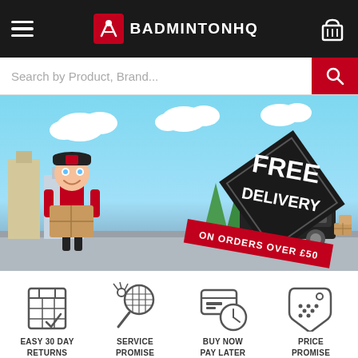BadmintonHQ website header with logo, hamburger menu, and basket icon
Search by Product, Brand...
[Figure (illustration): Promotional banner for BadmintonHQ showing animated delivery person carrying a box, a black delivery van with BadmintonHQ logo, city buildings in background, and a diamond-shaped sign reading 'FREE DELIVERY ON ORDERS OVER £50']
[Figure (illustration): Calendar/checklist icon representing Easy 30 Day Returns]
EASY 30 DAY RETURNS
[Figure (illustration): Badminton racket and shuttlecock icon representing Service Promise]
SERVICE PROMISE
[Figure (illustration): Credit card and clock icon representing Buy Now Pay Later]
BUY NOW PAY LATER
[Figure (illustration): Price tag icon representing Price Promise]
PRICE PROMISE
PLAYER LEVEL